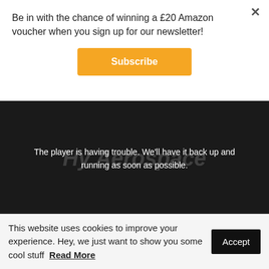Be in with the chance of winning a £20 Amazon voucher when you sign up for our newsletter!
[Figure (screenshot): Orange Subscribe button for newsletter signup]
[Figure (screenshot): Video player in error state showing: 'The player is having trouble. We'll have it back up and running as soon as possible.' with a watermark logo overlay on dark background.]
The Product Photo Shoot
This website uses cookies to improve your experience. Hey, we just want to show you some cool stuff  Read More  Accept